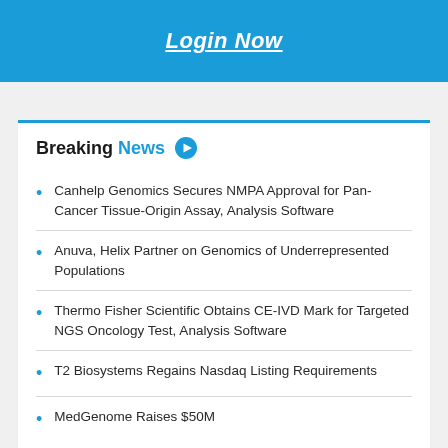Login Now
Breaking News
Canhelp Genomics Secures NMPA Approval for Pan-Cancer Tissue-Origin Assay, Analysis Software
Anuva, Helix Partner on Genomics of Underrepresented Populations
Thermo Fisher Scientific Obtains CE-IVD Mark for Targeted NGS Oncology Test, Analysis Software
T2 Biosystems Regains Nasdaq Listing Requirements
MedGenome Raises $50M